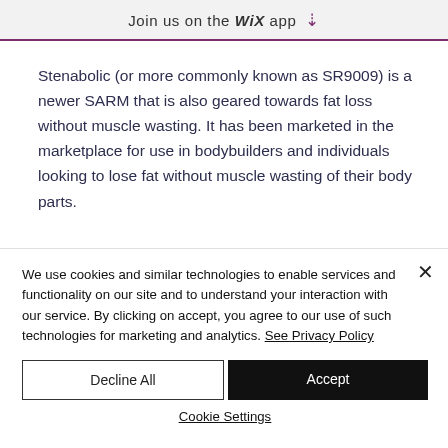Join us on the WiX app ⬇
Stenabolic (or more commonly known as SR9009) is a newer SARM that is also geared towards fat loss without muscle wasting. It has been marketed in the marketplace for use in bodybuilders and individuals looking to lose fat without muscle wasting of their body parts.
We use cookies and similar technologies to enable services and functionality on our site and to understand your interaction with our service. By clicking on accept, you agree to our use of such technologies for marketing and analytics. See Privacy Policy
Decline All
Accept
Cookie Settings